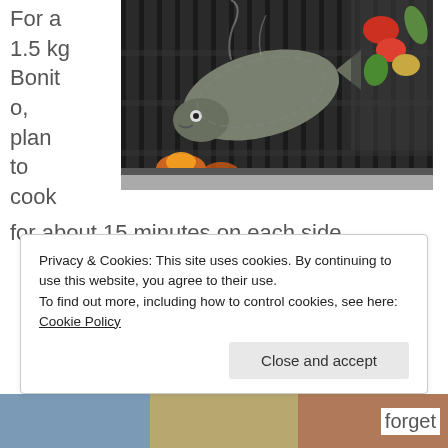For a 1.5 kg Bonito, plan to cook for about 15 minutes on each side.
[Figure (photo): Fish and vegetables being grilled on a barbecue grill with visible flames]
Privacy & Cookies: This site uses cookies. By continuing to use this website, you agree to their use. To find out more, including how to control cookies, see here: Cookie Policy
[Figure (photo): Bottom strip showing food photos partially visible]